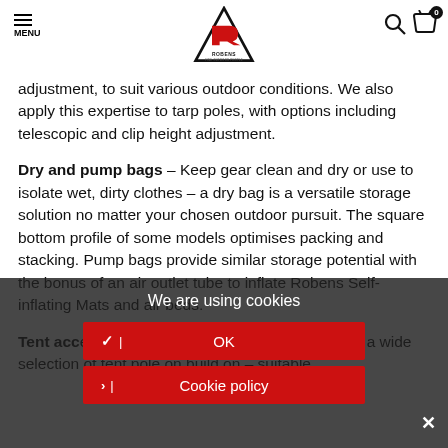MENU | Robens logo | search icon | cart 0
adjustment, to suit various outdoor conditions. We also apply this expertise to tarp poles, with options including telescopic and clip height adjustment.
Dry and pump bags – Keep gear clean and dry or use to isolate wet, dirty clothes – a dry bag is a versatile storage solution no matter your chosen outdoor pursuit. The square bottom profile of some models optimises packing and stacking. Pump bags provide similar storage potential with the bonus of an air outlet tube to inflate Robens Self-inflating Mats and air beds.
Tent accessories are our final frontier – we supply a wide selection of tent pole on build on – suitable
We are using cookies
✓ | OK
> | Cookie policy